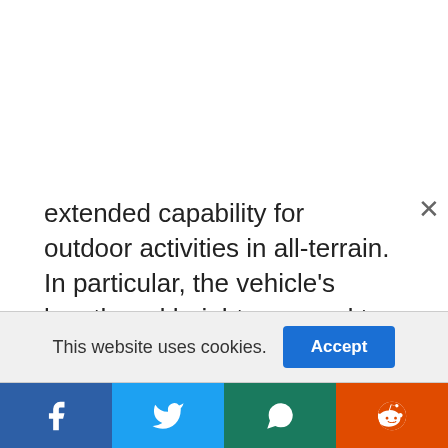extended capability for outdoor activities in all-terrain. In particular, the vehicle's length and height are good to easily load and secure common outdoor equipment. Its high-strength roof rails, reinforced B-pillars and door jambs add to the usability of securing equipment on the roof.

The latest i-Activ All-Wheel Drive technology is standard for the model, as well as Mi-Drive or
This website uses cookies.
Social share bar: Facebook, Twitter, WhatsApp, Reddit